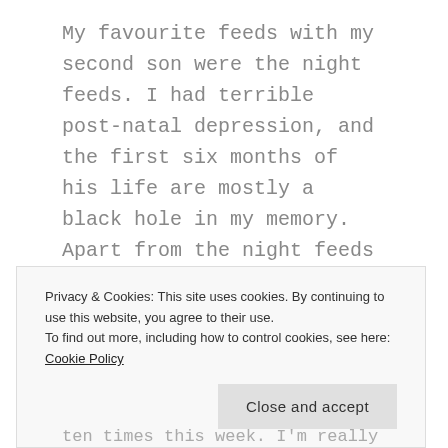My favourite feeds with my second son were the night feeds. I had terrible post-natal depression, and the first six months of his life are mostly a black hole in my memory. Apart from the night feeds when we would sit, just him and me, enclosed from the darkness in lamplight, and I would pray.
Guilt-free Parenting (4) – what does it look like?
Privacy & Cookies: This site uses cookies. By continuing to use this website, you agree to their use. To find out more, including how to control cookies, see here: Cookie Policy
ten times this week. I'm really struggling to expand